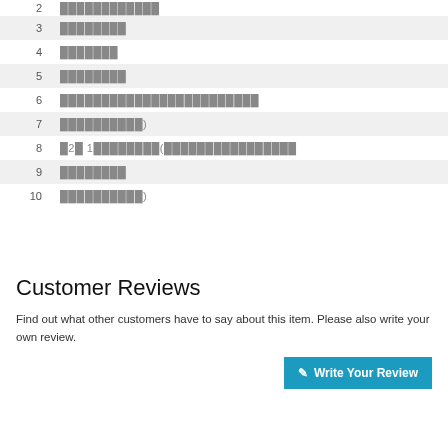2  ████████████
3  ████████
4  ███████
5  ████████
6  ████████████████████████
7  ██████████)
8  █2█ 1████████(████████████████
9  ████████
10  ██████████)
Customer Reviews
Find out what other customers have to say about this item. Please also write your own review.